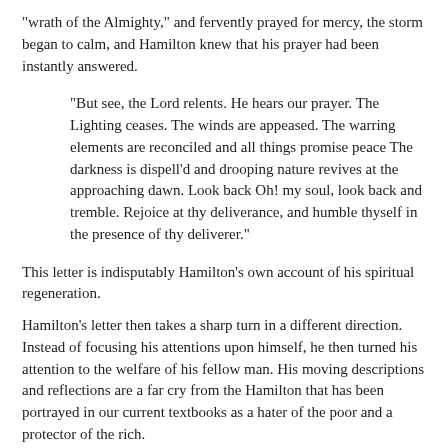"wrath of the Almighty," and fervently prayed for mercy, the storm began to calm, and Hamilton knew that his prayer had been instantly answered.
"But see, the Lord relents. He hears our prayer. The Lighting ceases. The winds are appeased. The warring elements are reconciled and all things promise peace The darkness is dispell'd and drooping nature revives at the approaching dawn. Look back Oh! my soul, look back and tremble. Rejoice at thy deliverance, and humble thyself in the presence of thy deliverer."
This letter is indisputably Hamilton's own account of his spiritual regeneration.
Hamilton's letter then takes a sharp turn in a different direction. Instead of focusing his attentions upon himself, he then turned his attention to the welfare of his fellow man. His moving descriptions and reflections are a far cry from the Hamilton that has been portrayed in our current textbooks as a hater of the poor and a protector of the rich.
"Yet hold, Oh vain mortal! Check thy ill timed joy. Art